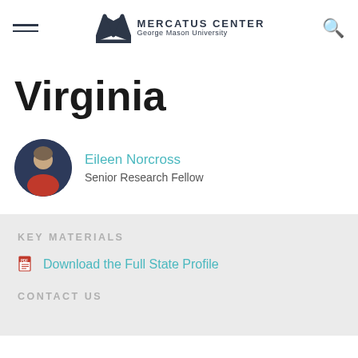MERCATUS CENTER George Mason University
Virginia
Eileen Norcross
Senior Research Fellow
KEY MATERIALS
Download the Full State Profile
CONTACT US